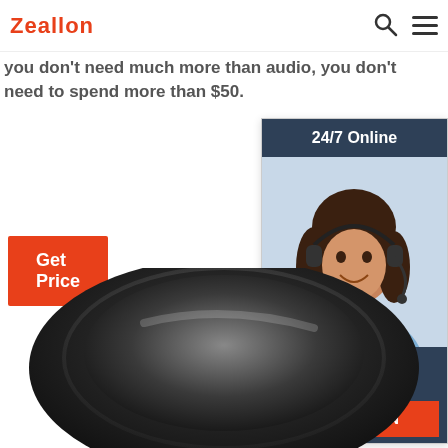Zeallon
you don't need much more than audio, you don't need to spend more than $50.
Get Price
[Figure (photo): Chat widget with woman wearing headset, labeled '24/7 Online', 'Click here for free chat!', and a QUOTATION button]
[Figure (photo): Close-up photo of a black rounded speaker device from above]